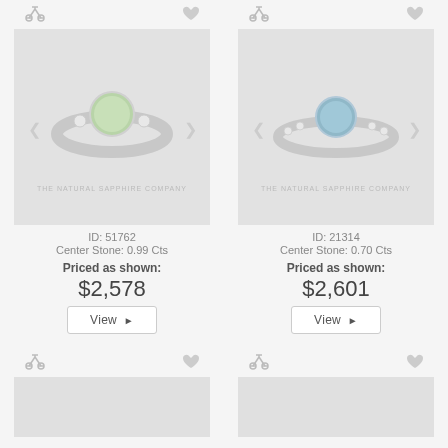[Figure (photo): Green sapphire ring with diamond accents on twisted band, ID 51762]
ID: 51762
Center Stone: 0.99 Cts
Priced as shown:
$2,578
View ▶
[Figure (photo): Blue sapphire ring with diamond pave band, ID 21314]
ID: 21314
Center Stone: 0.70 Cts
Priced as shown:
$2,601
View ▶